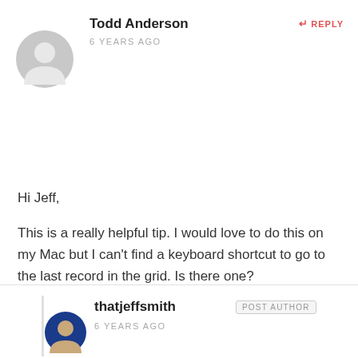Todd Anderson
REPLY
6 YEARS AGO
[Figure (illustration): Gray circular avatar placeholder icon showing a silhouette of a person]
Hi Jeff,
This is a really helpful tip. I would love to do this on my Mac but I can't find a keyboard shortcut to go to the last record in the grid. Is there one?
thatjeffsmith
POST AUTHOR
6 YEARS AGO
[Figure (photo): Circular avatar photo of thatjeffsmith, showing a person with dark background]